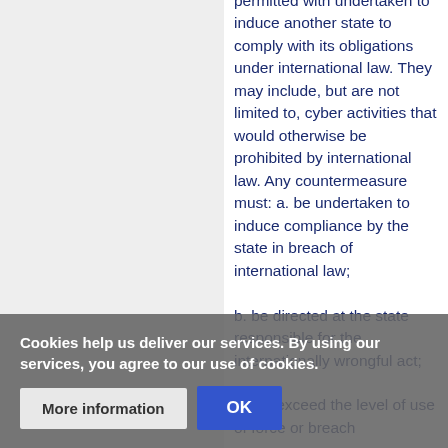permitted with undertaken to induce another state to comply with its obligations under international law. They may include, but are not limited to, cyber activities that would otherwise be prohibited by international law. Any countermeasure must: a. be undertaken to induce compliance by the state in breach of international law;

b.  be directed at the state responsible for the internationally wrongful act;

c.  not exceed the level of use of force or breach...
Cookies help us deliver our services. By using our services, you agree to our use of cookies.